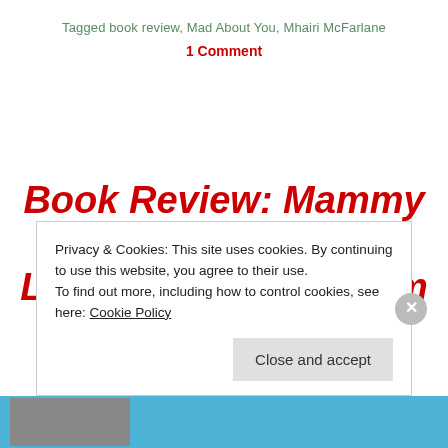Tagged book review, Mad About You, Mhairi McFarlane
1 Comment
Book Review: Mammy Banter, The Secret Life of an Uncool Mum by Serena Terry
Privacy & Cookies: This site uses cookies. By continuing to use this website, you agree to their use. To find out more, including how to control cookies, see here: Cookie Policy
Close and accept